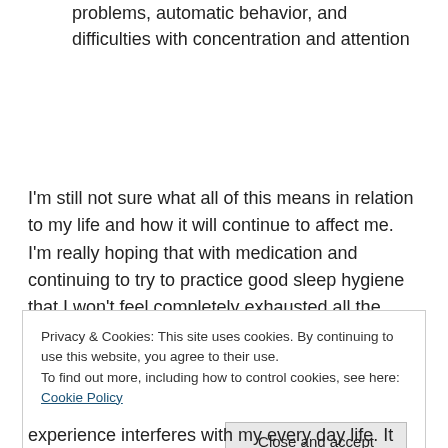cognitive dysfunction. This includes memory problems, automatic behavior, and difficulties with concentration and attention
I’m still not sure what all of this means in relation to my life and how it will continue to affect me. I’m really hoping that with medication and continuing to try to practice good sleep hygiene that I won’t feel completely exhausted all the time, like I do now.
Privacy & Cookies: This site uses cookies. By continuing to use this website, you agree to their use.
To find out more, including how to control cookies, see here: Cookie Policy
experience interferes with my every day life. It